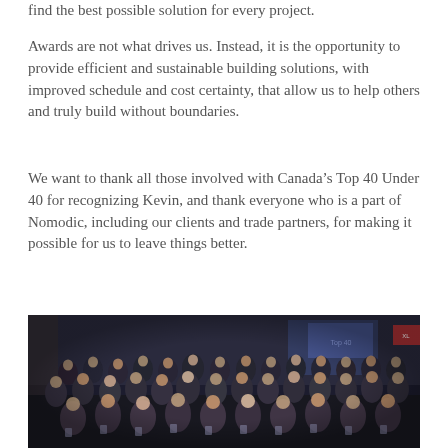find the best possible solution for every project.
Awards are not what drives us. Instead, it is the opportunity to provide efficient and sustainable building solutions, with improved schedule and cost certainty, that allow us to help others and truly build without boundaries.
We want to thank all those involved with Canada's Top 40 Under 40 for recognizing Kevin, and thank everyone who is a part of Nomodic, including our clients and trade partners, for making it possible for us to leave things better.
[Figure (photo): Group photo of approximately 40 people in formal attire at an awards ceremony, posed together in a dimly lit event venue with blue lighting in the background.]